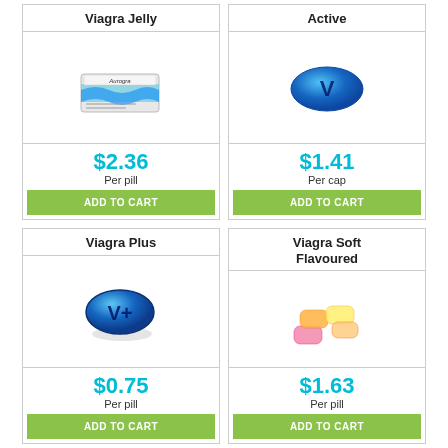Viagra Jelly
[Figure (photo): Aurogra branded sachet/blister pack with blue wave design]
$2.36
Per pill
ADD TO CART
Active
[Figure (photo): Blue oval pill with letter V on it]
$1.41
Per cap
ADD TO CART
Viagra Plus
[Figure (photo): Blue oval pill with V+ text on it]
$0.75
Per pill
ADD TO CART
Viagra Soft Flavoured
[Figure (photo): Colorful soft chewable pills in pink, orange, yellow colors]
$1.63
Per pill
ADD TO CART